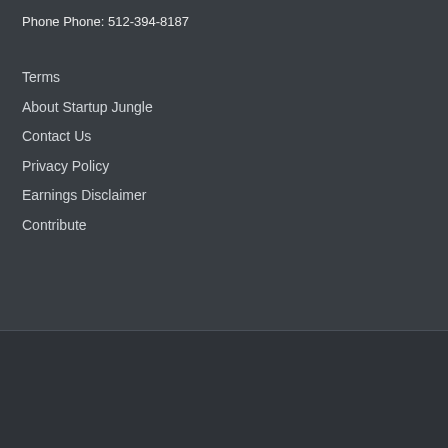Phone Phone: 512-394-8187
Terms
About Startup Jungle
Contact Us
Privacy Policy
Earnings Disclaimer
Contribute
Copyright © 2022 · Start Up Jungle
[Figure (other): Social media icons: Facebook, LinkedIn, Pinterest, YouTube — white outlined circles on dark background]